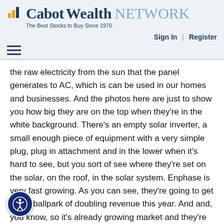Cabot Wealth NETWORK — The Best Stocks to Buy Since 1970
Sign In | Register
the raw electricity from the sun that the panel generates to AC, which is can be used in our homes and businesses. And the photos here are just to show you how big they are on the top when they're in the white background. There's an empty solar inverter, a small enough piece of equipment with a very simple plug, plug in attachment and in the lower when it's hard to see, but you sort of see where they're set on the solar, on the roof, in the solar system. Enphase is very fast growing. As you can see, they're going to get in the ballpark of doubling revenue this year. And and, you know, so it's already growing market and they're expanding their other business lines, which we'll discuss in a m